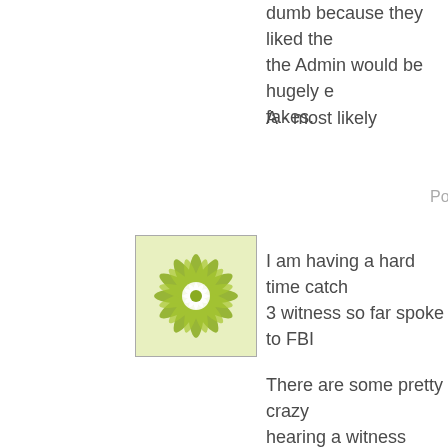dumb because they liked the Admin would be hugely embarrassing fakes.
A - most likely
Po
[Figure (illustration): Green and white decorative flower/snowflake pattern avatar icon]
I am having a hard time catching up. 3 witness so far spoke to FBI
There are some pretty crazy hearing a witness question th GJ testimony is pretty major.
Is he saying they aren't accurate
I know it could be a memory i entire substance was differe memory AND perception for t
Was Fitzy's brow sweating ag
The investigation part is shar